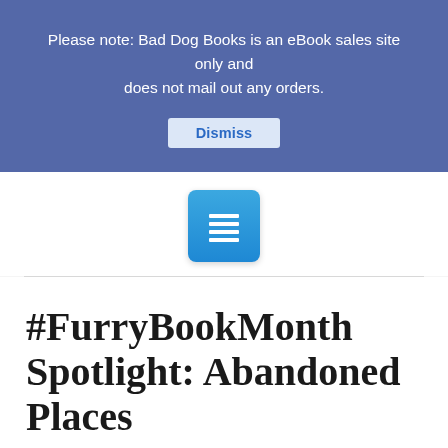Please note: Bad Dog Books is an eBook sales site only and does not mail out any orders.
Dismiss
[Figure (other): Blue square menu/navigation icon with horizontal white lines representing a document or menu]
#FurryBookMonth Spotlight: Abandoned Places
BLOG, NEWS, SALES   ABANDONED PLACES, FREE, HORROR, SALE, SPOTLIGHT, VOICE   LEAVE A COMMENT